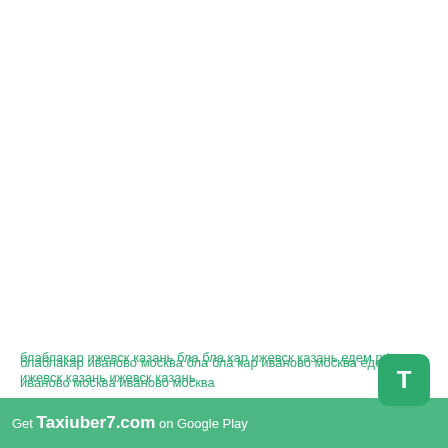блаблакар ижевск казань бла бла кар ижевск казань едем.рф ижевск казань ижевск казань
[Figure (logo): Green rounded square app icon with white letter T]
блаблакар иваново москва бла бла кар иваново москва едем.рф иваново москва иваново москва
Get Taxiuber7.com on Google Play